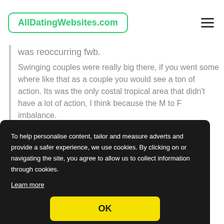AllDatingWebsites.com
was reoccurring fwb.
Swinging couples were really big there, if you went some where like that as a couple you would see a ton of action. Its was the only costal tropical area that didn't have a lot of action, I think because the M to F imbalance.
To help personalise content, tailor and measure adverts and provide a safer experience, we use cookies. By clicking on or navigating the site, you agree to allow us to collect information through cookies.
Learn more
OK
Then after that there was nothing, had 1 meeting